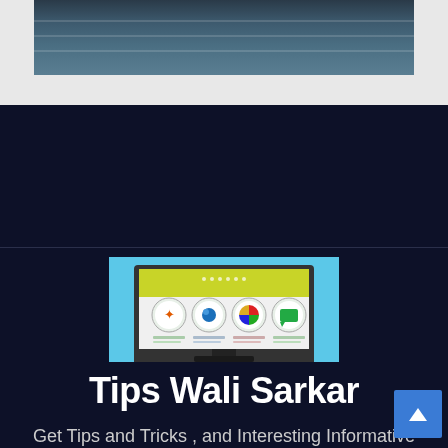[Figure (photo): Ocean/water surface photograph with dark teal/blue tones, partial view of image card at top of page]
[Figure (illustration): Computer monitor illustration on light blue background, showing a website/dashboard interface with colorful circular icons (rocket, map pin, color wheel, message) on a yellow-green header, with white content area below]
Tips Wali Sarkar
Get Tips and Tricks , and Interesting Informative Articles on different topics .